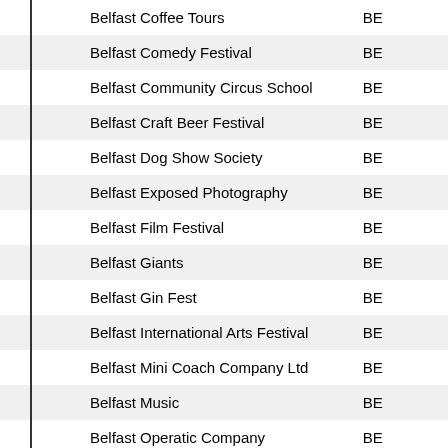| Name | Code |
| --- | --- |
| Belfast Coffee Tours | BE |
| Belfast Comedy Festival | BE |
| Belfast Community Circus School | BE |
| Belfast Craft Beer Festival | BE |
| Belfast Dog Show Society | BE |
| Belfast Exposed Photography | BE |
| Belfast Film Festival | BE |
| Belfast Giants | BE |
| Belfast Gin Fest | BE |
| Belfast International Arts Festival | BE |
| Belfast Mini Coach Company Ltd | BE |
| Belfast Music | BE |
| Belfast Operatic Company | BE |
| Belfast Photo Festival | BE |
| Belfast Piercing Academy | NE |
| Belfast Pride | BE |
| Belfast Print Workshop | BE |
| Belfast Recovery College | BE |